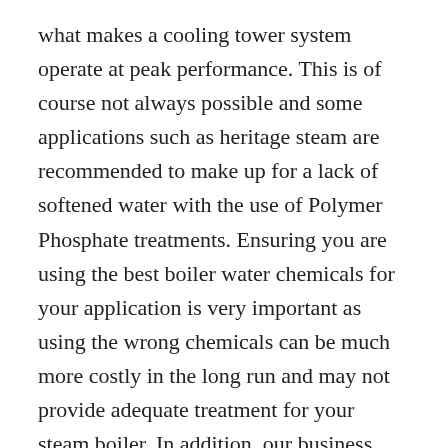what makes a cooling tower system operate at peak performance. This is of course not always possible and some applications such as heritage steam are recommended to make up for a lack of softened water with the use of Polymer Phosphate treatments. Ensuring you are using the best boiler water chemicals for your application is very important as using the wrong chemicals can be much more costly in the long run and may not provide adequate treatment for your steam boiler. In addition, our business sells its chemicals and services to a diverse range of markets in Africa through our partners and network of distributors. Feedwater's rage of softening systems treat from 0m3 per hour up to the major industrial water softener set up at 50,000m3 per hour. Since then, Kuriuta has recorded growing